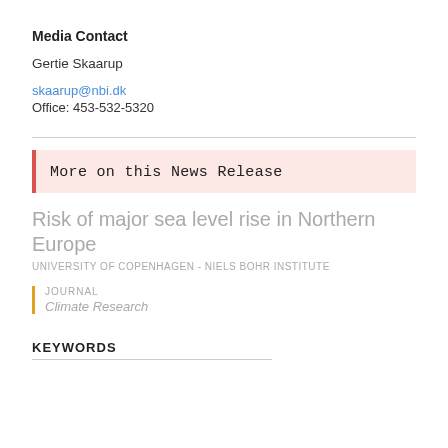Media Contact
Gertie Skaarup
skaarup@nbi.dk
Office: 453-532-5320
More on this News Release
Risk of major sea level rise in Northern Europe
UNIVERSITY OF COPENHAGEN - NIELS BOHR INSTITUTE
JOURNAL
Climate Research
KEYWORDS